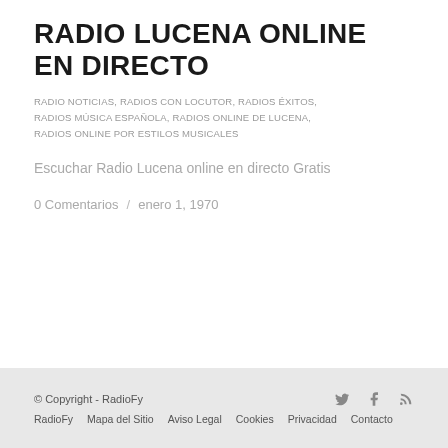RADIO LUCENA ONLINE EN DIRECTO
RADIO NOTICIAS, RADIOS CON LOCUTOR, RADIOS ÉXITOS, RADIOS MÚSICA ESPAÑOLA, RADIOS ONLINE DE LUCENA, RADIOS ONLINE POR ESTILOS MUSICALES
Escuchar Radio Lucena online en directo Gratis
0 Comentarios  /  enero 1, 1970
© Copyright - RadioFy   RadioFy  Mapa del Sitio  Aviso Legal  Cookies  Privacidad  Contacto